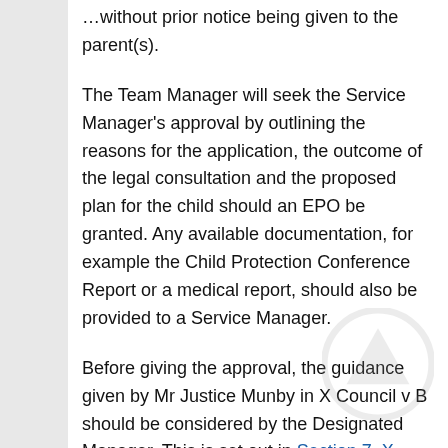…without prior notice being given to the parent(s).
The Team Manager will seek the Service Manager's approval by outlining the reasons for the application, the outcome of the legal consultation and the proposed plan for the child should an EPO be granted. Any available documentation, for example the Child Protection Conference Report or a medical report, should also be provided to a Service Manager.
Before giving the approval, the guidance given by Mr Justice Munby in X Council v B should be considered by the Designated Manager. This is set out in Section 7, X Council v B Guidance.
After an EPO is made, the further approval of a Service Manager must be sought before any decision is made to remove the child from the parents' care,